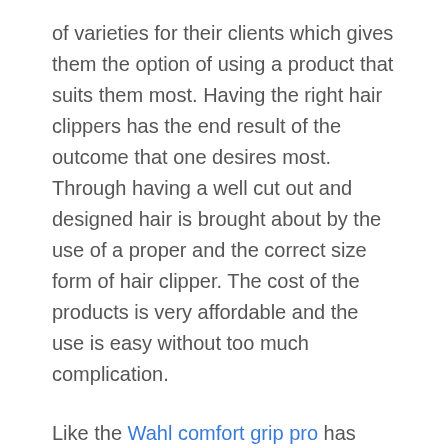of varieties for their clients which gives them the option of using a product that suits them most. Having the right hair clippers has the end result of the outcome that one desires most. Through having a well cut out and designed hair is brought about by the use of a proper and the correct size form of hair clipper. The cost of the products is very affordable and the use is easy without too much complication.
Like the Wahl comfort grip pro has received so many positive reviews which have mostly been as a result of the ease with which the product can be used, the cost of the product. The self-sharpening element of the blade is very effective and efficient for the user, in addition to that it has been considered for freight in...